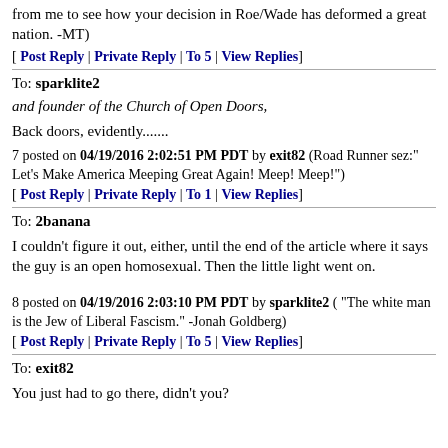from me to see how your decision in Roe/Wade has deformed a great nation. -MT)
[ Post Reply | Private Reply | To 5 | View Replies]
To: sparklite2
and founder of the Church of Open Doors,
Back doors, evidently.......
7 posted on 04/19/2016 2:02:51 PM PDT by exit82 (Road Runner sez:" Let's Make America Meeping Great Again! Meep! Meep!")
[ Post Reply | Private Reply | To 1 | View Replies]
To: 2banana
I couldn't figure it out, either, until the end of the article where it says the guy is an open homosexual. Then the little light went on.
8 posted on 04/19/2016 2:03:10 PM PDT by sparklite2 ( "The white man is the Jew of Liberal Fascism." -Jonah Goldberg)
[ Post Reply | Private Reply | To 5 | View Replies]
To: exit82
You just had to go there, didn't you?